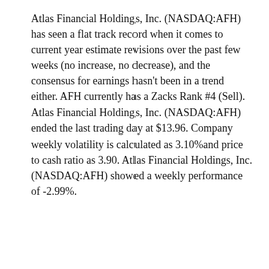Atlas Financial Holdings, Inc. (NASDAQ:AFH) has seen a flat track record when it comes to current year estimate revisions over the past few weeks (no increase, no decrease), and the consensus for earnings hasn't been in a trend either. AFH currently has a Zacks Rank #4 (Sell). Atlas Financial Holdings, Inc. (NASDAQ:AFH) ended the last trading day at $13.96. Company weekly volatility is calculated as 3.10%and price to cash ratio as 3.90. Atlas Financial Holdings, Inc. (NASDAQ:AFH) showed a weekly performance of -2.99%.